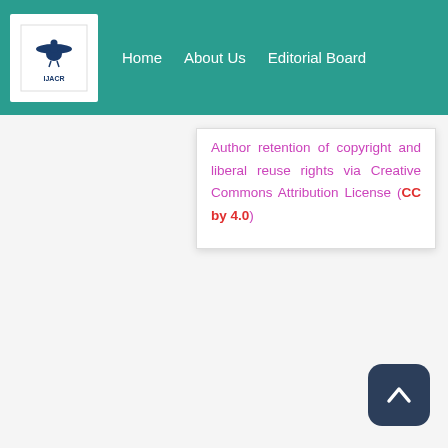Home   About Us   Editorial Board
Author retention of copyright and liberal reuse rights via Creative Commons Attribution License (CC by 4.0)
Quick Links
➡ Article citations
➡ Join with